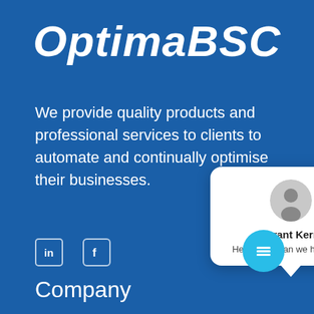OptimaBSC
We provide quality products and professional services to clients to automate and continually optimise their businesses.
[Figure (screenshot): LinkedIn and Facebook social media icons rendered as outlined boxes with 'in' and 'f' symbols in white on blue background]
Company
[Figure (screenshot): Chat popup widget with circular avatar photo of Grant Kerr (man in shirt), close X button, bold name 'Grant Kerr', and greeting text 'Hello! How can we help you?' on white rounded card with speech bubble tail]
[Figure (screenshot): Circular cyan/blue chat button with a document/lines icon (hamburger-style lines), positioned bottom right]
Home
About OptimaBSC
Contact OptimaBSC
Privacy Policy